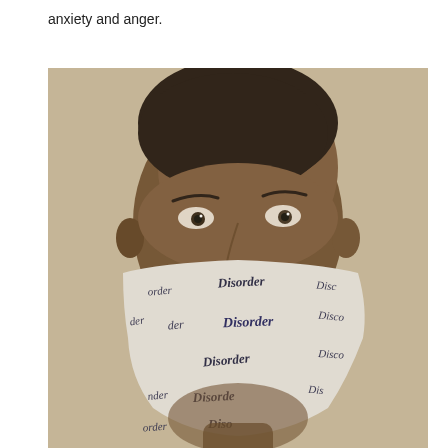anxiety and anger.
[Figure (photo): Close-up portrait of a young Black child with eyes visible above a white fabric mask printed repeatedly with the word 'Disorder' in dark letters. The photo is in a warm sepia/grayscale tone.]